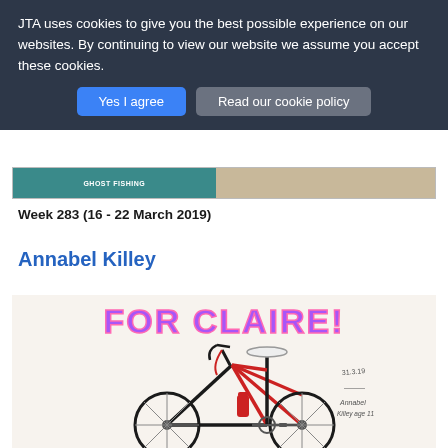JTA uses cookies to give you the best possible experience on our websites. By continuing to view our website we assume you accept these cookies.
Yes I agree | Read our cookie policy
[Figure (photo): Partial image strip showing a ghost fishing image on the left (teal/green underwater scene with text 'GHOST FISHING') and a wooden/beige surface on the right]
Week 283 (16 - 22 March 2019)
Annabel Killey
[Figure (photo): A drawing/illustration of a red and black road bicycle on white paper, with handwritten text at top reading 'FOR CLAIRE!' in purple and pink bubble letters. The bike is detailed with a water bottle. Handwritten signature and date visible on the right side reading 'Annabel Killey age 11'.]